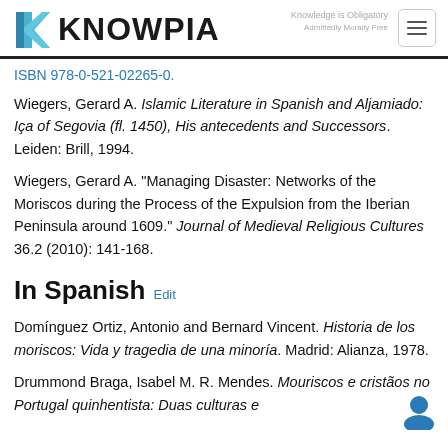KNOWPIA
ISBN 978-0-521-02265-0.
Wiegers, Gerard A. Islamic Literature in Spanish and Aljamiado: Iça of Segovia (fl. 1450), His antecedents and Successors. Leiden: Brill, 1994.
Wiegers, Gerard A. "Managing Disaster: Networks of the Moriscos during the Process of the Expulsion from the Iberian Peninsula around 1609." Journal of Medieval Religious Cultures 36.2 (2010): 141-168.
In Spanish
Domínguez Ortiz, Antonio and Bernard Vincent. Historia de los moriscos: Vida y tragedia de una minoría. Madrid: Alianza, 1978.
Drummond Braga, Isabel M. R. Mendes. Mouriscos e cristãos no Portugal quinhentista: Duas culturas e